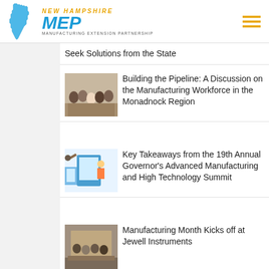[Figure (logo): New Hampshire MEP - Manufacturing Extension Partnership logo with NH state outline in blue, MEP in large blue italic letters, and 'NEW HAMPSHIRE' in gold italic above]
Seek Solutions from the State
Building the Pipeline: A Discussion on the Manufacturing Workforce in the Monadnock Region
Key Takeaways from the 19th Annual Governor's Advanced Manufacturing and High Technology Summit
Manufacturing Month Kicks off at Jewell Instruments
MEP National Network by the Numbers: Industry Highlights